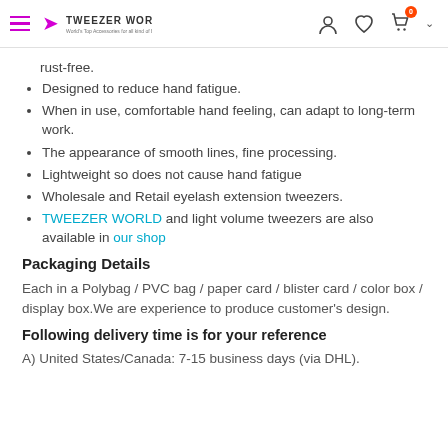TWEEZER WORLD
rust-free.
Designed to reduce hand fatigue.
When in use, comfortable hand feeling, can adapt to long-term work.
The appearance of smooth lines, fine processing.
Lightweight so does not cause hand fatigue
Wholesale and Retail eyelash extension tweezers.
TWEEZER WORLD and light volume tweezers are also available in our shop
Packaging Details
Each in a Polybag / PVC bag / paper card / blister card / color box / display box.We are experience to produce customer's design.
Following delivery time is for your reference
A) United States/Canada: 7-15 business days (via DHL).